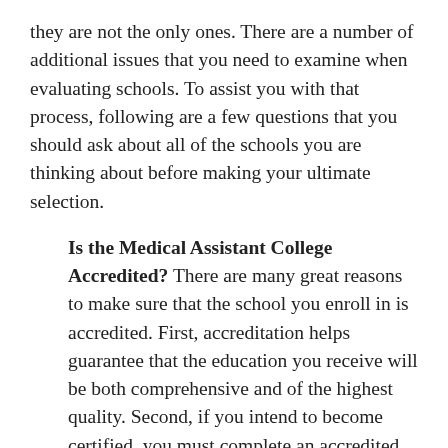they are not the only ones. There are a number of additional issues that you need to examine when evaluating schools. To assist you with that process, following are a few questions that you should ask about all of the schools you are thinking about before making your ultimate selection.
Is the Medical Assistant College Accredited? There are many great reasons to make sure that the school you enroll in is accredited. First, accreditation helps guarantee that the education you receive will be both comprehensive and of the highest quality. Second, if you intend to become certified, you must complete an accredited program. Two of the accepted organizations for accreditation are the Accrediting Bureau of Health Education Schools (ABHES) and the Commission on Accreditation of Allied Health Education Programs (CAAHEP). If your program is not accredited by one of these agencies, you will not be eligible to take the CMA exam. Also, if you plan on obtaining a student loan or